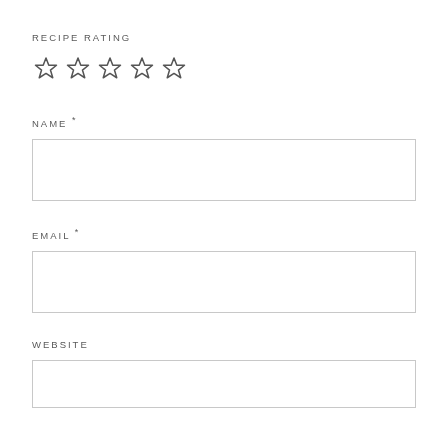RECIPE RATING
[Figure (other): Five empty star rating icons in a row]
NAME *
[Figure (other): Empty text input box for name field]
EMAIL *
[Figure (other): Empty text input box for email field]
WEBSITE
[Figure (other): Empty text input box for website field (partially visible)]